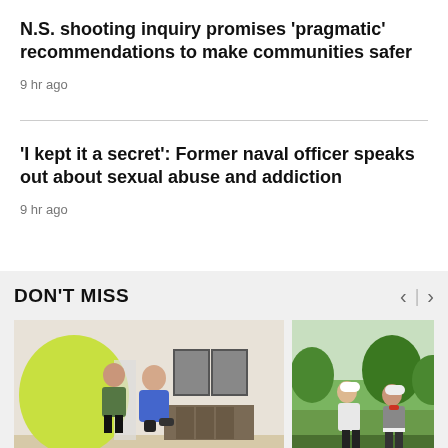N.S. shooting inquiry promises 'pragmatic' recommendations to make communities safer
9 hr ago
'I kept it a secret': Former naval officer speaks out about sexual abuse and addiction
9 hr ago
DON'T MISS
[Figure (photo): Person kneeling proposing to another person in an office lobby with green decor and framed pictures on the wall]
[Figure (photo): Two men in golf attire posing outdoors with trees in background]